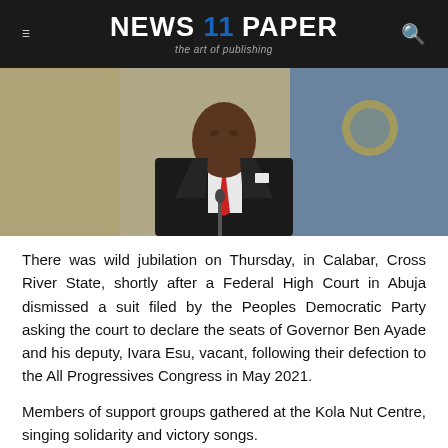NEWS 11 PAPER — the art of publishing
[Figure (photo): A man in a dark suit with a red tie speaking at a podium with a blue background featuring a gold emblem.]
There was wild jubilation on Thursday, in Calabar, Cross River State, shortly after a Federal High Court in Abuja dismissed a suit filed by the Peoples Democratic Party asking the court to declare the seats of Governor Ben Ayade and his deputy, Ivara Esu, vacant, following their defection to the All Progressives Congress in May 2021.
Members of support groups gathered at the Kola Nut Centre, singing solidarity and victory songs.